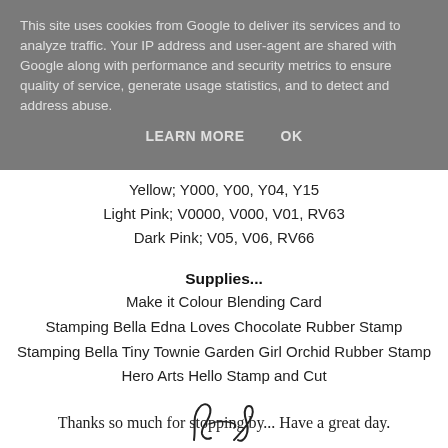This site uses cookies from Google to deliver its services and to analyze traffic. Your IP address and user-agent are shared with Google along with performance and security metrics to ensure quality of service, generate usage statistics, and to detect and address abuse.
LEARN MORE   OK
Yellow; Y000, Y00, Y04, Y15
Light Pink; V0000, V000, V01, RV63
Dark Pink; V05, V06, RV66
Supplies...
Make it Colour Blending Card
Stamping Bella Edna Loves Chocolate Rubber Stamp
Stamping Bella Tiny Townie Garden Girl Orchid Rubber Stamp
Hero Arts Hello Stamp and Cut
Thanks so much for stopping by... Have a great day.
[Figure (illustration): Signature/decorative script illustration at the bottom of the page]